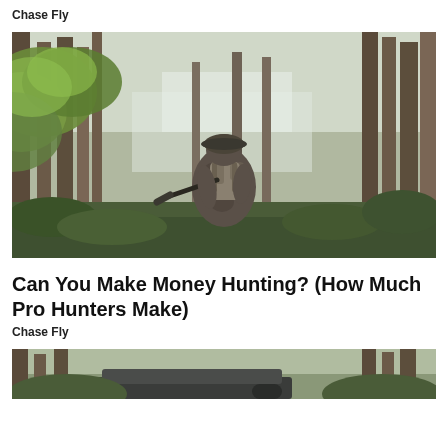Chase Fly
[Figure (photo): A hunter in camouflage gear and cap, viewed from behind, holding a rifle, walking through a dense forest with tall pine trees and green foliage.]
Can You Make Money Hunting? (How Much Pro Hunters Make)
Chase Fly
[Figure (photo): Bottom partial photo showing the top of trees in a forest, partially cropped.]